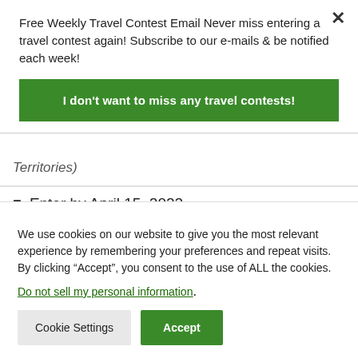Free Weekly Travel Contest Email Never miss entering a travel contest again! Subscribe to our e-mails & be notified each week!
I don't want to miss any travel contests!
Territories)
Enter by April 15, 2022
We use cookies on our website to give you the most relevant experience by remembering your preferences and repeat visits. By clicking “Accept”, you consent to the use of ALL the cookies.
Do not sell my personal information.
Cookie Settings
Accept